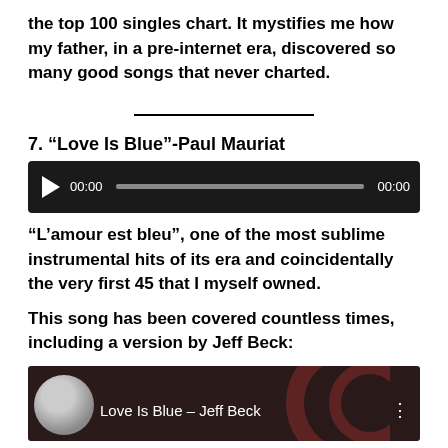the top 100 singles chart. It mystifies me how my father, in a pre-internet era, discovered so many good songs that never charted.
7. “Love Is Blue”-Paul Mauriat
[Figure (other): Audio player widget with play button, time display 00:00, progress bar, and end time 00:00 on dark background]
“L’amour est bleu”, one of the most sublime instrumental hits of its era and coincidentally the very first 45 that I myself owned.
This song has been covered countless times, including a version by Jeff Beck:
[Figure (screenshot): Video thumbnail showing a person and text 'Love Is Blue - Jeff Beck' on a dark background with decorative circles]